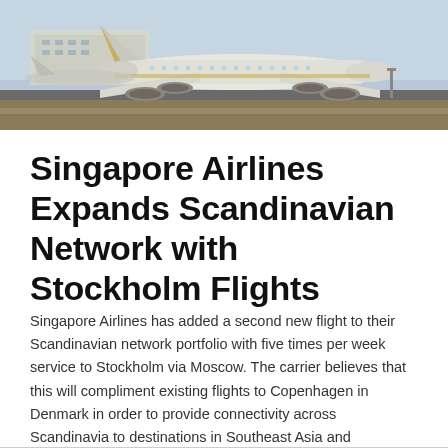[Figure (photo): A large passenger aircraft on a runway taxiing or taking off, photographed from ground level. Airport infrastructure visible in background.]
Singapore Airlines Expands Scandinavian Network with Stockholm Flights
Singapore Airlines has added a second new flight to their Scandinavian network portfolio with five times per week service to Stockholm via Moscow. The carrier believes that this will compliment existing flights to Copenhagen in Denmark in order to provide connectivity across Scandinavia to destinations in Southeast Asia and Northern…